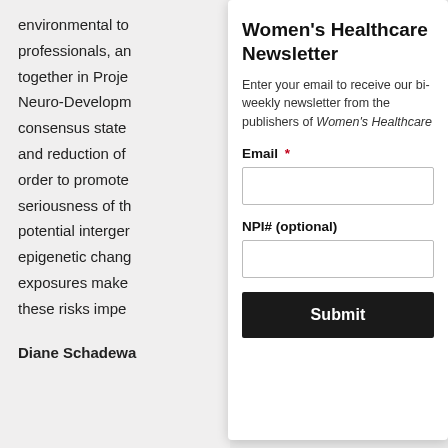environmental to professionals, and together in Project Neuro-Development consensus statement and reduction of order to promote seriousness of the potential intergenerational epigenetic changes exposures make these risks imperative
Diane Schadewa
Women's Healthcare Newsletter
Enter your email to receive our bi-weekly newsletter from the publishers of Women's Healthcare
Email *
NPI# (optional)
Submit